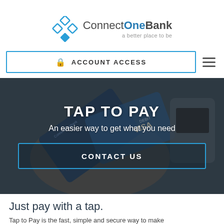[Figure (logo): ConnectOneBank logo with diamond/rhombus icon in blue and tagline 'a better place to be']
ACCOUNT ACCESS
[Figure (photo): Person holding a ConnectOneBank contactless debit Visa card near a payment terminal]
TAP TO PAY
An easier way to get what you need
CONTACT US
Just pay with a tap.
Tap to Pay is the fast, simple and secure way to make